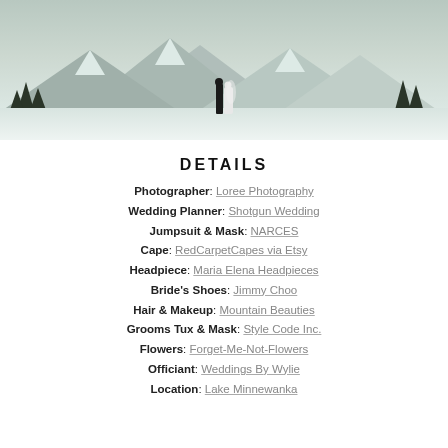[Figure (photo): Wedding couple standing in snow with mountains and pine trees in the background, black and white/muted color photograph]
DETAILS
Photographer: Loree Photography
Wedding Planner: Shotgun Wedding
Jumpsuit & Mask: NARCES
Cape: RedCarpetCapes via Etsy
Headpiece: Maria Elena Headpieces
Bride's Shoes: Jimmy Choo
Hair & Makeup: Mountain Beauties
Grooms Tux & Mask: Style Code Inc.
Flowers: Forget-Me-Not-Flowers
Officiant: Weddings By Wylie
Location: Lake Minnewanka